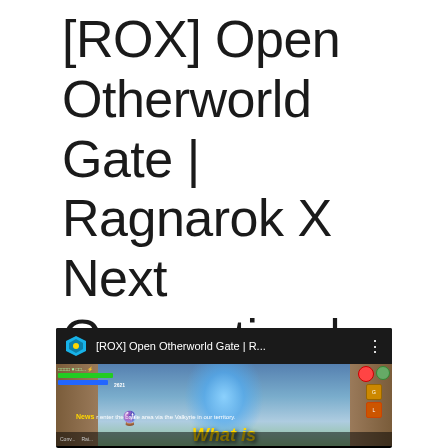[ROX] Open Otherworld Gate | Ragnarok X Next Generation | King
[Figure (other): Red button with Thai text characters, likely a call-to-action button]
[Figure (screenshot): Screenshot of a video player showing '[ROX] Open Otherworld Gate | R...' with a Kodi-style app icon, playing a Ragnarok X Next Generation mobile game video. The game screen shows an otherworld gate with blue glow, character sprites, HP/MP bars, and 'What is' text in yellow at the bottom.]